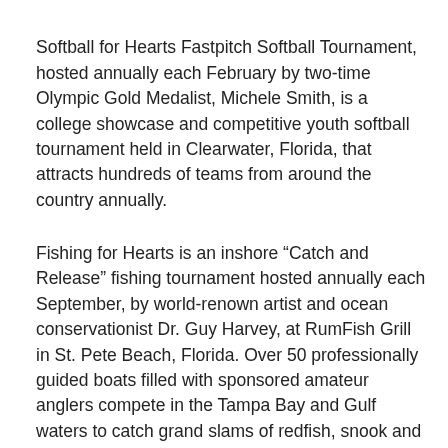related issue.
Softball for Hearts Fastpitch Softball Tournament, hosted annually each February by two-time Olympic Gold Medalist, Michele Smith, is a college showcase and competitive youth softball tournament held in Clearwater, Florida, that attracts hundreds of teams from around the country annually.
Fishing for Hearts is an inshore “Catch and Release” fishing tournament hosted annually each September, by world-renown artist and ocean conservationist Dr. Guy Harvey, at RumFish Grill in St. Pete Beach, Florida. Over 50 professionally guided boats filled with sponsored amateur anglers compete in the Tampa Bay and Gulf waters to catch grand slams of redfish, snook and trout in this high-end in-shore sport fishing tournament.